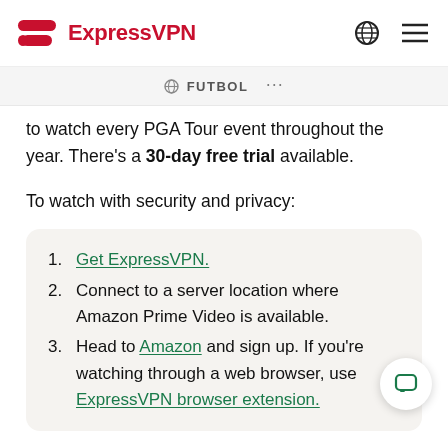ExpressVPN
FUTBOL ...
to watch every PGA Tour event throughout the year. There's a 30-day free trial available.
To watch with security and privacy:
Get ExpressVPN.
Connect to a server location where Amazon Prime Video is available.
Head to Amazon and sign up. If you're watching through a web browser, use ExpressVPN browser extension.